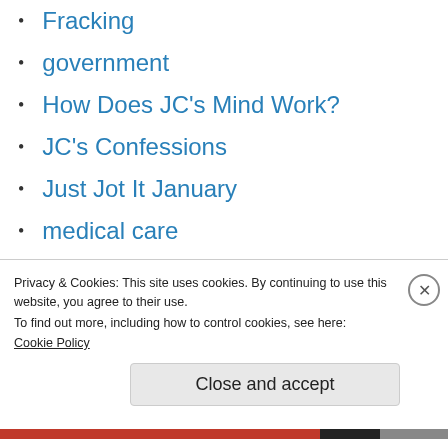Fracking
government
How Does JC's Mind Work?
JC's Confessions
Just Jot It January
medical care
music
musings
One-Liner Wednesday
photos
poetry
Privacy & Cookies: This site uses cookies. By continuing to use this website, you agree to their use.
To find out more, including how to control cookies, see here:
Cookie Policy
Close and accept